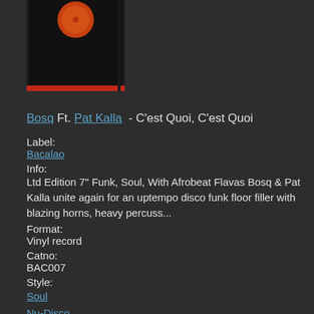[Figure (photo): Album cover for a vinyl record showing a dark/black sleeve with an orange circular label visible at the top center]
Bosq Ft. Pat Kalla - C'est Quoi, C'est Quoi
Label:
Bacalao
Info:
Ltd Edition 7" Funk, Soul, With Afrobeat Flavas Bosq & Pat Kalla unite again for an uptempo disco funk floor filler with blazing horns, heavy percuss...
Format:
Vinyl record
Catno:
BAC007
Style:
Soul
Nu-Disco
Funk
Afrobeat